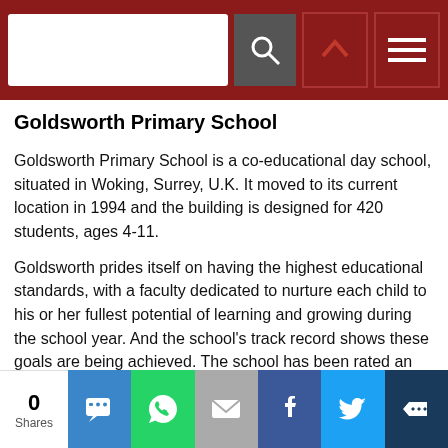Navigation bar with search box and menu icons
Goldsworth Primary School
Goldsworth Primary School is a co-educational day school, situated in Woking, Surrey, U.K. It moved to its current location in 1994 and the building is designed for 420 students, ages 4-11.
Goldsworth prides itself on having the highest educational standards, with a faculty dedicated to nurture each child to his or her fullest potential of learning and growing during the school year. And the school's track record shows these goals are being achieved. The school has been rated an outstanding school by Ofsted, the Office for Standards in
0 Shares — social share buttons: SMS, WhatsApp, Email, Facebook, Twitter, More